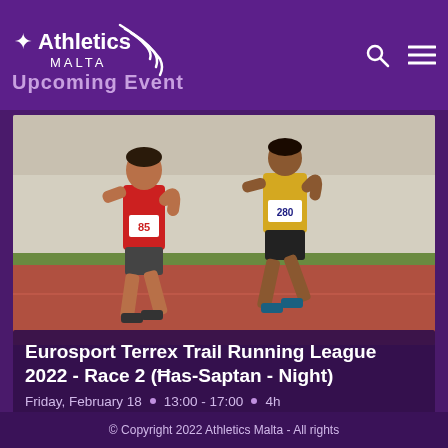Athletics Malta — Upcoming Event
[Figure (photo): Two male runners racing on a red athletics track. The runner in front wears a red vest with race number 85, and the runner behind wears a yellow vest with race number 280.]
Eurosport Terrex Trail Running League 2022 - Race 2 (Ħas-Saptan - Night)
Friday, February 18 • 13:00 - 17:00 • 4h
© Copyright 2022 Athletics Malta - All rights